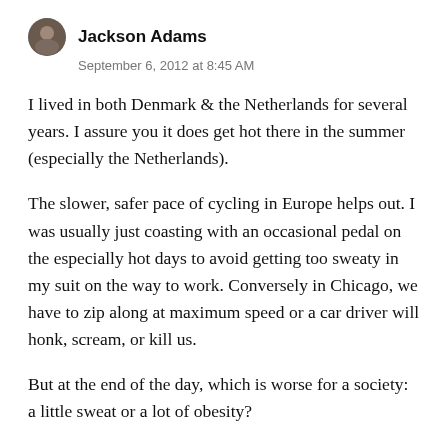Jackson Adams
September 6, 2012 at 8:45 AM
I lived in both Denmark & the Netherlands for several years. I assure you it does get hot there in the summer (especially the Netherlands).
The slower, safer pace of cycling in Europe helps out. I was usually just coasting with an occasional pedal on the especially hot days to avoid getting too sweaty in my suit on the way to work. Conversely in Chicago, we have to zip along at maximum speed or a car driver will honk, scream, or kill us.
But at the end of the day, which is worse for a society: a little sweat or a lot of obesity?
By the way, I shower four times a days, too.